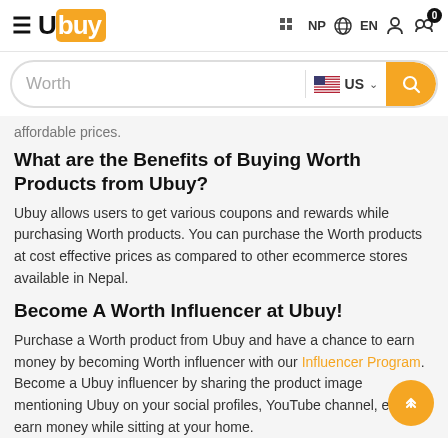[Figure (screenshot): Ubuy e-commerce website header with logo, hamburger menu, NP flag, EN language selector, user icon, and shopping cart with badge showing 0]
[Figure (screenshot): Search bar with 'Worth' placeholder text, US flag with 'US' label and dropdown caret, and orange search button with magnifying glass icon]
affordable prices.
What are the Benefits of Buying Worth Products from Ubuy?
Ubuy allows users to get various coupons and rewards while purchasing Worth products. You can purchase the Worth products at cost effective prices as compared to other ecommerce stores available in Nepal.
Become A Worth Influencer at Ubuy!
Purchase a Worth product from Ubuy and have a chance to earn money by becoming Worth influencer with our Influencer Program. Become a Ubuy influencer by sharing the product image mentioning Ubuy on your social profiles, YouTube channel, etc. and earn money while sitting at your home.